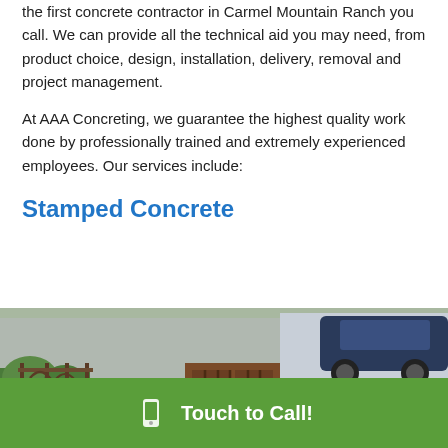the first concrete contractor in Carmel Mountain Ranch you call. We can provide all the technical aid you may need, from product choice, design, installation, delivery, removal and project management.
At AAA Concreting, we guarantee the highest quality work done by professionally trained and extremely experienced employees. Our services include:
Stamped Concrete
[Figure (photo): Photo of stamped concrete steps with decorative iron railing, green plants on the left, wooden door and parked cars visible in the background]
Touch to Call!